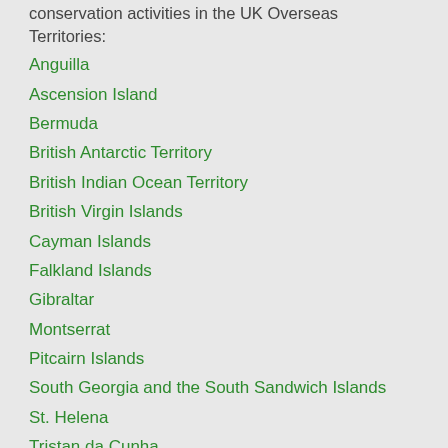conservation activities in the UK Overseas Territories:
Anguilla
Ascension Island
Bermuda
British Antarctic Territory
British Indian Ocean Territory
British Virgin Islands
Cayman Islands
Falkland Islands
Gibraltar
Montserrat
Pitcairn Islands
South Georgia and the South Sandwich Islands
St. Helena
Tristan da Cunha
Turks and Caicos Islands